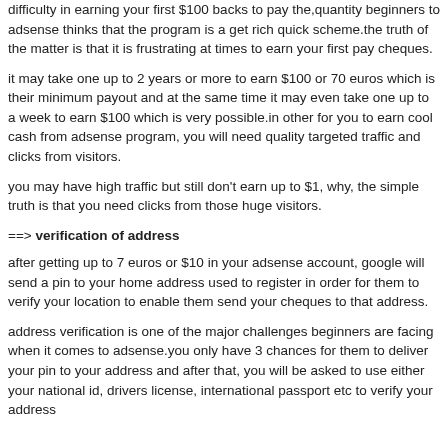difficulty in earning your first $100 backs to pay the,quantity beginners to adsense thinks that the program is a get rich quick scheme.the truth of the matter is that it is frustrating at times to earn your first pay cheques.
it may take one up to 2 years or more to earn $100 or 70 euros which is their minimum payout and at the same time it may even take one up to a week to earn $100 which is very possible.in other for you to earn cool cash from adsense program, you will need quality targeted traffic and clicks from visitors.
you may have high traffic but still don't earn up to $1, why, the simple truth is that you need clicks from those huge visitors.
==> verification of address
after getting up to 7 euros or $10 in your adsense account, google will send a pin to your home address used to register in order for them to verify your location to enable them send your cheques to that address.
address verification is one of the major challenges beginners are facing when it comes to adsense.you only have 3 chances for them to deliver your pin to your address and after that, you will be asked to use either your national id, drivers license, international passport etc to verify your address